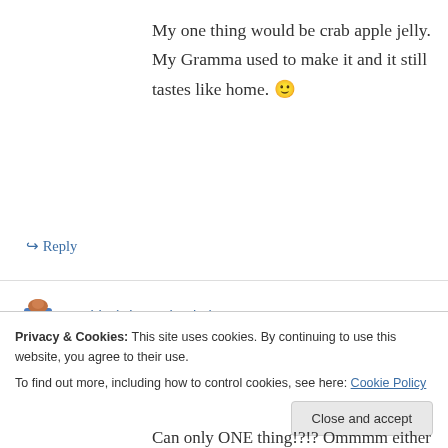My one thing would be crab apple jelly. My Gramma used to make it and it still tastes like home. 🙂
↳ Reply
Robin (Hippo Flambe) on 17 June 2012 at 6:12 pm
If I could only can one thing it would be crushed tomatoes. I love all the jams that I make but crushed tomatoes make winter bearable.
Privacy & Cookies: This site uses cookies. By continuing to use this website, you agree to their use.
To find out more, including how to control cookies, see here: Cookie Policy
Close and accept
Can only ONE thing!?!? Ommmm either